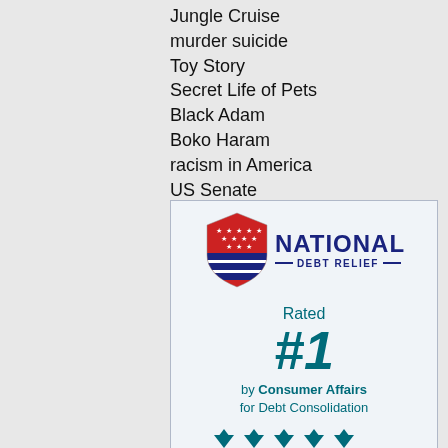Jungle Cruise
murder suicide
Toy Story
Secret Life of Pets
Black Adam
Boko Haram
racism in America
US Senate
[Figure (logo): National Debt Relief advertisement. Logo with red/blue shield and 'NATIONAL DEBT RELIEF' text. Text: 'Rated #1 by Consumer Affairs for Debt Consolidation'. Star rating row at bottom.]